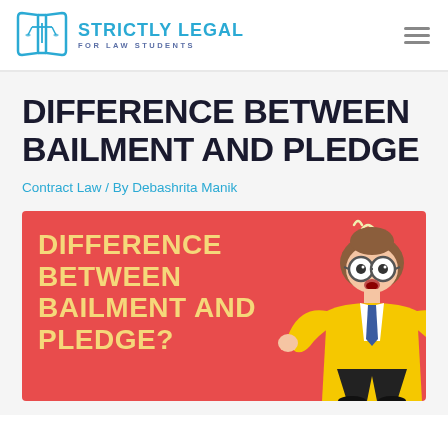STRICTLY LEGAL FOR LAW STUDENTS
DIFFERENCE BETWEEN BAILMENT AND PLEDGE
Contract Law / By Debashrita Manik
[Figure (infographic): Red banner infographic with yellow bold text reading 'DIFFERENCE BETWEEN BAILMENT AND PLEDGE?' alongside a cartoon character in a yellow suit with glasses and raised hands.]